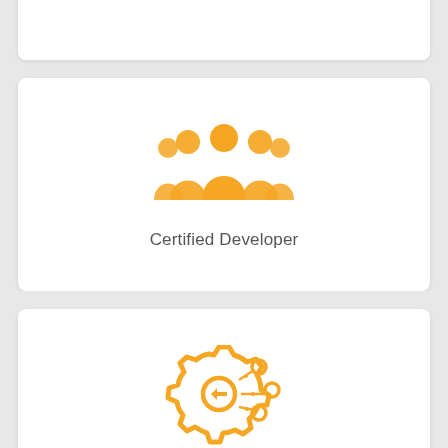[Figure (illustration): Orange icon of a group of five people representing Certified Developer]
Certified Developer
[Figure (illustration): Orange icon of a gear with network nodes representing Integrated Solution]
Integrated Solution